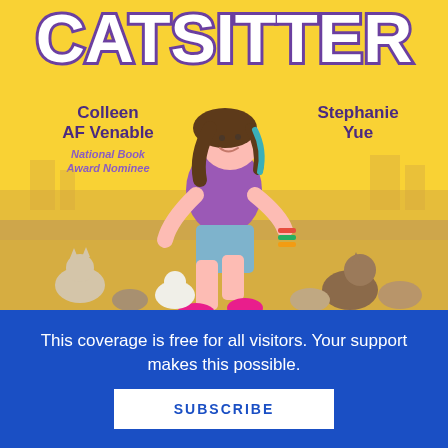[Figure (illustration): Book cover of 'Catsitter' (partially visible title at top). Yellow background with a girl in a purple shirt and blue jean shorts running, wearing pink sneakers, with colorful bracelets. Many cats visible in the background at her feet. Authors listed: Colleen AF Venable (National Book Award Nominee) and Stephanie Yue.]
This coverage is free for all visitors. Your support makes this possible.
SUBSCRIBE